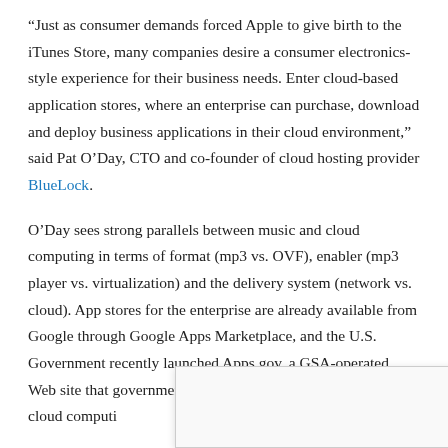“Just as consumer demands forced Apple to give birth to the iTunes Store, many companies desire a consumer electronics-style experience for their business needs. Enter cloud-based application stores, where an enterprise can purchase, download and deploy business applications in their cloud environment,” said Pat O’Day, CTO and co-founder of cloud hosting provider BlueLock.
O’Day sees strong parallels between music and cloud computing in terms of format (mp3 vs. OVF), enabler (mp3 player vs. virtualization) and the delivery system (network vs. cloud). App stores for the enterprise are already available from Google through Google Apps Marketplace, and the U.S. Government recently launched Apps.gov, a GSA-operated Web site that government agencies can use to buy and deploy cloud computi…